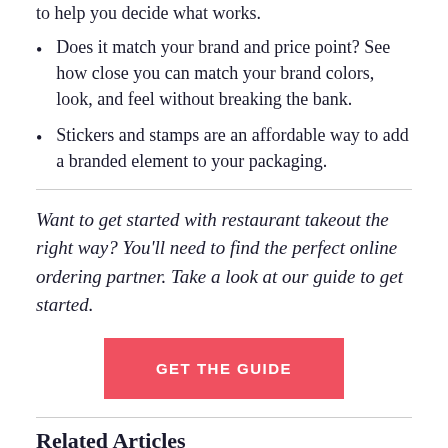to help you decide what works.
Does it match your brand and price point? See how close you can match your brand colors, look, and feel without breaking the bank.
Stickers and stamps are an affordable way to add a branded element to your packaging.
Want to get started with restaurant takeout the right way? You'll need to find the perfect online ordering partner. Take a look at our guide to get started.
[Figure (other): Red button labeled GET THE GUIDE]
Related Articles